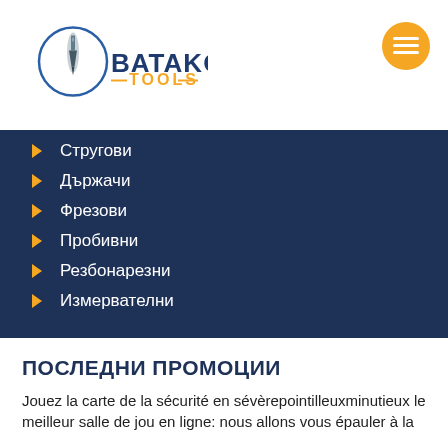[Figure (logo): Batakov Tools logo with drill bit icon in circle, blue text BATAKOV and orange text TOOLS with decorative lines]
Стругови
Държачи
Фрезови
Пробивни
Резбонарезни
Измервателни
ПОСЛЕДНИ ПРОМОЦИИ
Jouez la carte de la sécurité en sévèrepointilleuxminutieux le meilleur salle de jou en ligne: nous allons vous épauler à la